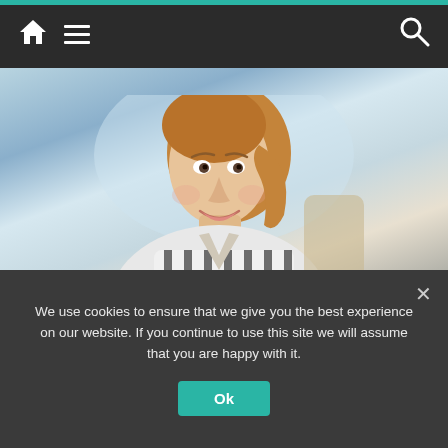Navigation bar with home, menu, and search icons
[Figure (photo): Woman smiling at the camera, wearing a striped blazer, seated in an office-like setting with a light blue-grey background]
Truck Accidents in Ashburn Happen. See Accident Attorneys
Truck Accident Attorneys | Sponsored
Search Now
We use cookies to ensure that we give you the best experience on our website. If you continue to use this site we will assume that you are happy with it.
Ok